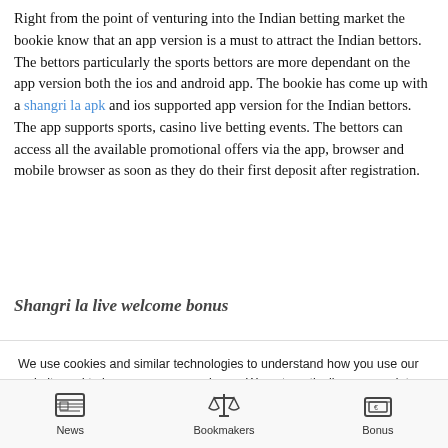Right from the point of venturing into the Indian betting market the bookie know that an app version is a must to attract the Indian bettors. The bettors particularly the sports bettors are more dependant on the app version both the ios and android app. The bookie has come up with a shangri la apk and ios supported app version for the Indian bettors. The app supports sports, casino live betting events. The bettors can access all the available promotional offers via the app, browser and mobile browser as soon as they do their first deposit after registration.
Shangri la live welcome bonus
We use cookies and similar technologies to understand how you use our website and to improve your experience. We automatically process data, which might include your IP address, for web analytics, site optimization, statistical, marketing and security reasons. To learn more, read our Privacy Policy including your right to withdraw your consent at any time and how to change your browser settings to disable cookies.
Ok
Privacy Policy
News  Bookmakers  Bonus